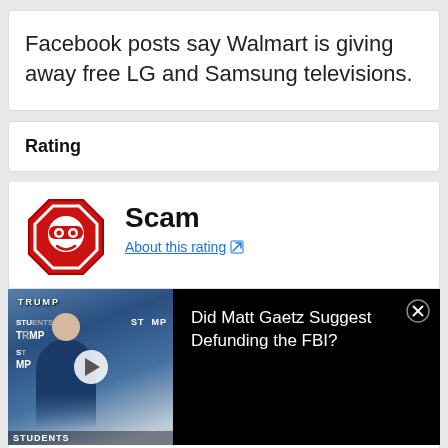Facebook posts say Walmart is giving away free LG and Samsung televisions.
Rating
Scam
About this rating
[Figure (photo): Photo of a man in a suit at a podium with Trump campaign banners in background, with a dark overlay panel showing text: Did Matt Gaetz Suggest Defunding the FBI?]
Did Matt Gaetz Suggest Defunding the FBI?
Visit A CVS® Near You CVS